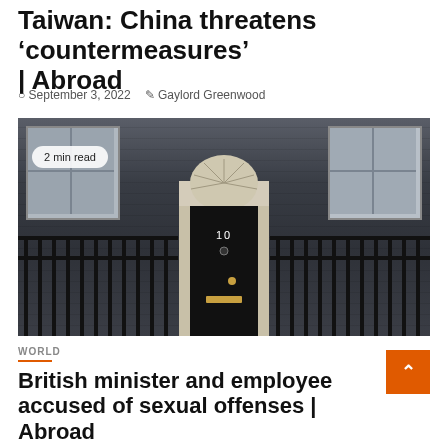Taiwan: China threatens ‘countermeasures’ | Abroad
September 3, 2022   Gaylord Greenwood
[Figure (photo): Photograph of 10 Downing Street front door with black iron railings, grey brick facade, white door surround with fan light, showing the iconic black door with number 10. A '2 min read' badge overlays the top-left corner.]
WORLD
British minister and employee accused of sexual offenses | Abroad